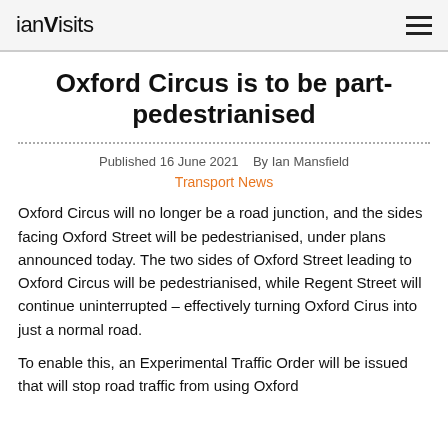ianVisits
Oxford Circus is to be part-pedestrianised
Published 16 June 2021   By Ian Mansfield
Transport News
Oxford Circus will no longer be a road junction, and the sides facing Oxford Street will be pedestrianised, under plans announced today. The two sides of Oxford Street leading to Oxford Circus will be pedestrianised, while Regent Street will continue uninterrupted – effectively turning Oxford Cirus into just a normal road.
To enable this, an Experimental Traffic Order will be issued that will stop road traffic from using Oxford